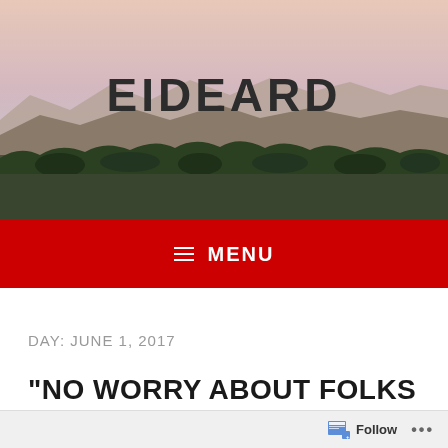[Figure (photo): Desert landscape with mountains, scrubby vegetation, and a pinkish-hued sky serving as the blog header background image]
EIDEARD
≡ MENU
DAY: JUNE 1, 2017
“NO WORRY ABOUT FOLKS CALLING YOU THE WORST…